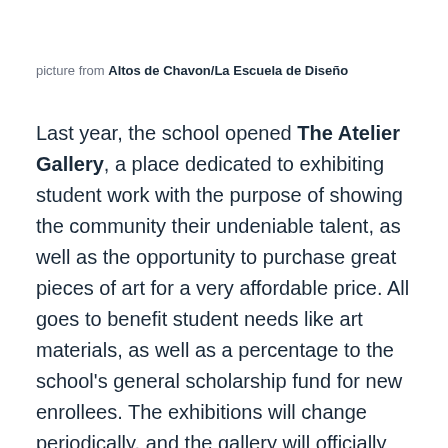picture from Altos de Chavon/La Escuela de Diseño
Last year, the school opened The Atelier Gallery, a place dedicated to exhibiting student work with the purpose of showing the community their undeniable talent, as well as the opportunity to purchase great pieces of art for a very affordable price. All goes to benefit student needs like art materials, as well as a percentage to the school's general scholarship fund for new enrollees. The exhibitions will change periodically, and the gallery will officially open THIS FRIDAY, October 13th at 8:30 am. Find below a piece written by Stephen Kaplan, the school Rector describing the current exhibition: